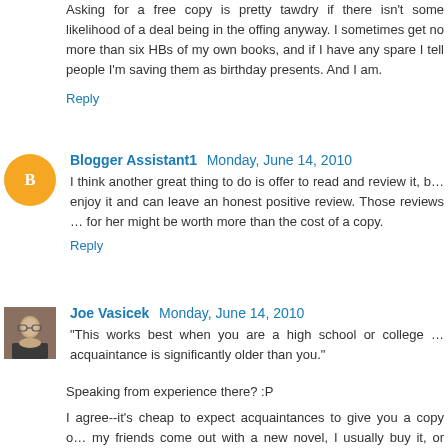Asking for a free copy is pretty tawdry if there isn't some likelihood of a deal being in the offing anyway. I sometimes get no more than six HBs of my own books, and if I have any spare I tell people I'm saving them as birthday presents. And I am.
Reply
Blogger Assistant1  Monday, June 14, 2010
I think another great thing to do is offer to read and review it, but only if you enjoy it and can leave an honest positive review. Those reviews might be worth for her might be worth more than the cost of a copy.
Reply
Joe Vasicek  Monday, June 14, 2010
"This works best when you are a high school or college student and your acquaintance is significantly older than you."
Speaking from experience there? :P
I agree--it's cheap to expect acquaintances to give you a copy of their book. When my friends come out with a new novel, I usually buy it, or borrow it from the library to decide whether I like it enough to support them by buying it. For Dan Wells's first book, I Am Not a Serial Killer, I borrowed the UK copy from a friend and didn't have enough money at a con to buy it from him then, but told h